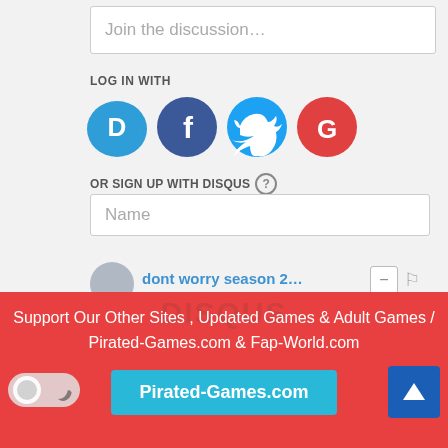Join the discussion…
LOG IN WITH
[Figure (logo): Four social login icons: Disqus (D, blue speech bubble), Facebook (f, dark blue circle), Twitter (bird, light blue circle), Google (G, red circle)]
OR SIGN UP WITH DISQUS
Name
dont worry season 2…
2 years ago
Thanks !!
Reply
sted
Support Our Other Sites , Updated Games & Adult Games / Pirated-Games.com & Fap-World.com
Pirated-Games.com